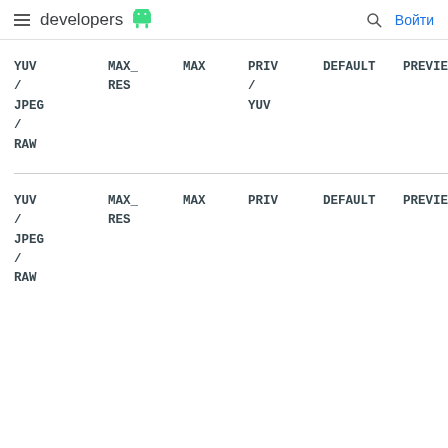≡ developers 🤖  🔍 Войти
| YUV/JPEG/RAW | MAX_RES | MAX | PRIV/YUV | DEFAULT | PREVIE(W) |
| --- | --- | --- | --- | --- | --- |
| YUV / JPEG / RAW | MAX_RES | MAX | PRIV / YUV | DEFAULT | PREVIE |
| YUV / JPEG / RAW | MAX_RES | MAX | PRIV | DEFAULT | PREVIE |